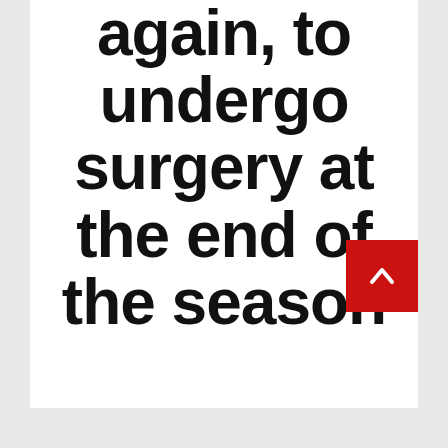again, to undergo surgery at the end of the season